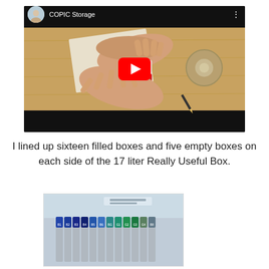[Figure (screenshot): YouTube video thumbnail showing 'COPIC Storage' video with hands organizing markers on a wooden surface, with a tape roll nearby. Has YouTube play button overlay.]
I lined up sixteen filled boxes and five empty boxes on each side of the 17 liter Really Useful Box.
[Figure (photo): Photo of Copic markers stored upright in a clear plastic box, showing colored caps of markers arranged in a row, with blues and greens visible.]